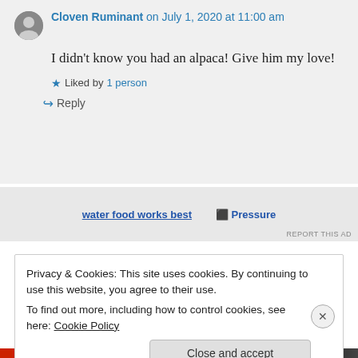Cloven Ruminant on July 1, 2020 at 11:00 am
I didn't know you had an alpaca! Give him my love!
★ Liked by 1 person
↩ Reply
[Figure (other): Ad banner with partially visible text]
REPORT THIS AD
Privacy & Cookies: This site uses cookies. By continuing to use this website, you agree to their use.
To find out more, including how to control cookies, see here: Cookie Policy
Close and accept